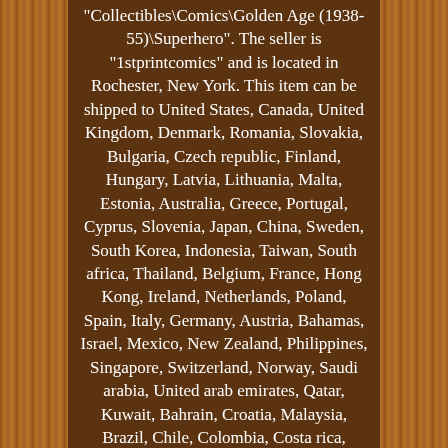"Collectibles\Comics\Golden Age (1938-55)\Superhero". The seller is "1stprintcomics" and is located in Rochester, New York. This item can be shipped to United States, Canada, United Kingdom, Denmark, Romania, Slovakia, Bulgaria, Czech republic, Finland, Hungary, Latvia, Lithuania, Malta, Estonia, Australia, Greece, Portugal, Cyprus, Slovenia, Japan, China, Sweden, South Korea, Indonesia, Taiwan, South africa, Thailand, Belgium, France, Hong Kong, Ireland, Netherlands, Poland, Spain, Italy, Germany, Austria, Bahamas, Israel, Mexico, New Zealand, Philippines, Singapore, Switzerland, Norway, Saudi arabia, United arab emirates, Qatar, Kuwait, Bahrain, Croatia, Malaysia, Brazil, Chile, Colombia, Costa rica, Panama, Trinidad and tobago, Guatemala, Honduras, Jamaica, Antigua and barbuda, Aruba, Belize, Dominica, Grenada, Saint kitts and nevis, Saint lucia, Montserrat, Turks and caicos islands, Barbados,